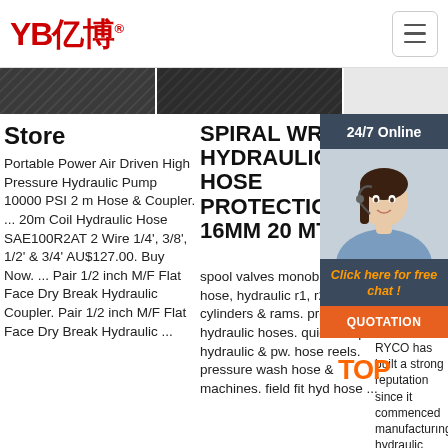YB亿博® [hamburger menu button]
[Figure (photo): Dark background image strip showing hydraulic hoses or metal parts]
Store
Portable Power Air Driven High Pressure Hydraulic Pump 10000 PSI 2 m Hose & Coupler. ... 20m Coil Hydraulic Hose SAE100R2AT 2 Wire 1/4', 3/8', 1/2' & 3/4' AU$127.00. Buy Now. ... Pair 1/2 inch M/F Flat Face Dry Break Hydraulic Coupler. Pair 1/2 inch M/F Flat Face Dry Break Hydraulic ...
SPIRAL WRAP HYDRAULIC HOSE PROTECTION 16MM 20 MT
spool valves monoblock 1 to 6. hose, hydraulic r1, r2. hydraulic cylinders & rams. premium hydraulic hoses. quick couplers hydraulic & pw. hose reels. pressure wash hose & machines. field fit hyd hose ...
Ho Hy
2028u2 filte acc inlir top. and gau RYC RYCO has built a strong reputation since it commenced manufacturing hydraulic hose and fittings in Melbourne,
[Figure (screenshot): 24/7 Online chat widget with photo of woman wearing headset, orange 'Click here for free chat!' text, and orange QUOTATION button]